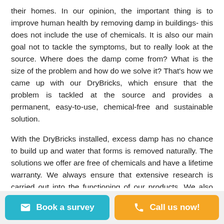their homes. In our opinion, the important thing is to improve human health by removing damp in buildings- this does not include the use of chemicals. It is also our main goal not to tackle the symptoms, but to really look at the source. Where does the damp come from? What is the size of the problem and how do we solve it? That's how we came up with our DryBricks, which ensure that the problem is tackled at the source and provides a permanent, easy-to-use, chemical-free and sustainable solution.
With the DryBricks installed, excess damp has no chance to build up and water that forms is removed naturally. The solutions we offer are free of chemicals and have a lifetime warranty. We always ensure that extensive research is carried out into the functioning of our products. We also conduct tests and closely monitor the results. The tests are
Book a survey | Call us now!